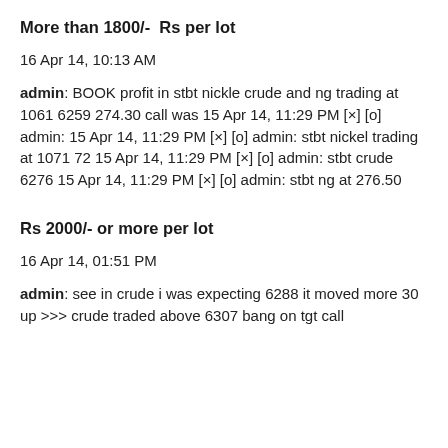More than 1800/-  Rs per lot
16 Apr 14, 10:13 AM
admin: BOOK profit in stbt nickle crude and ng trading at 1061 6259 274.30 call was 15 Apr 14, 11:29 PM [×] [o] admin: 15 Apr 14, 11:29 PM [×] [o] admin: stbt nickel trading at 1071 72 15 Apr 14, 11:29 PM [×] [o] admin: stbt crude 6276 15 Apr 14, 11:29 PM [×] [o] admin: stbt ng at 276.50
Rs 2000/- or more per lot
16 Apr 14, 01:51 PM
admin: see in crude i was expecting 6288 it moved more 30 up >>> crude traded above 6307 bang on tgt call